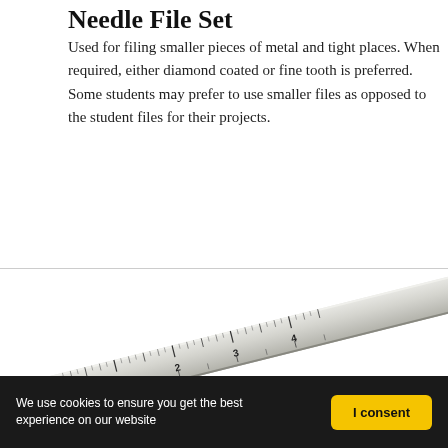Needle File Set
Used for filing smaller pieces of metal and tight places. When required, either diamond coated or fine tooth is preferred. Some students may prefer to use smaller files as opposed to the student files for their projects.
[Figure (photo): A metal ruler (steel rule) shown at a diagonal angle, with inch markings visible: 1, 2, 3, 4, and small tick marks between them.]
We use cookies to ensure you get the best experience on our website